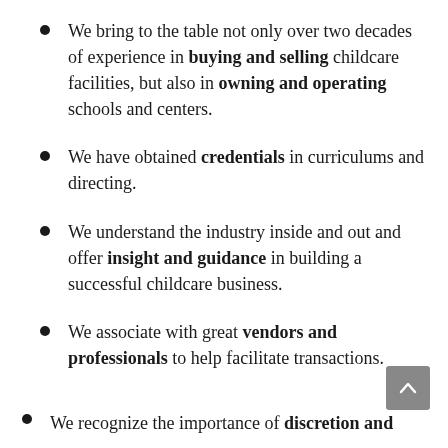We bring to the table not only over two decades of experience in buying and selling childcare facilities, but also in owning and operating schools and centers.
We have obtained credentials in curriculums and directing.
We understand the industry inside and out and offer insight and guidance in building a successful childcare business.
We associate with great vendors and professionals to help facilitate transactions.
We recognize the importance of discretion and ...